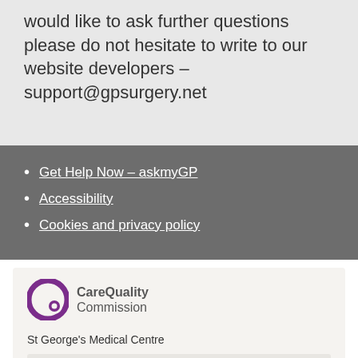would like to ask further questions please do not hesitate to write to our website developers – support@gpsurgery.net
Get Help Now – askmyGP
Accessibility
Cookies and privacy policy
[Figure (logo): Care Quality Commission logo with purple circular Q icon]
St George's Medical Centre
CQC overall rating